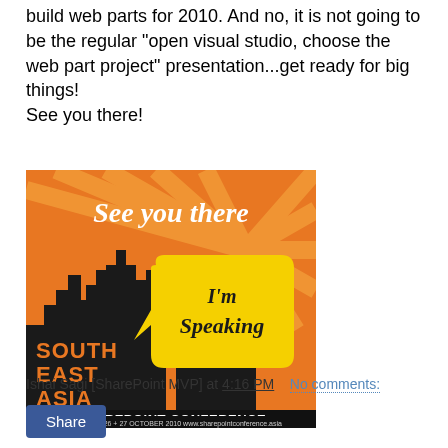build web parts for 2010. And no, it is not going to be the regular "open visual studio, choose the web part project" presentation...get ready for big things! See you there!
[Figure (illustration): South East Asia SharePoint Conference promotional banner with orange background, city skyline silhouette, 'See you there' script text at top, and a yellow speech bubble saying 'I'm Speaking'. Text reads: SOUTH EAST ASIA SHAREPOINT CONFERENCE SINGAPORE 26 + 27 OCTOBER 2010 www.sharepointconference.asia]
Ishai Sagi [SharePoint MVP] at 4:16 PM   No comments:
Share